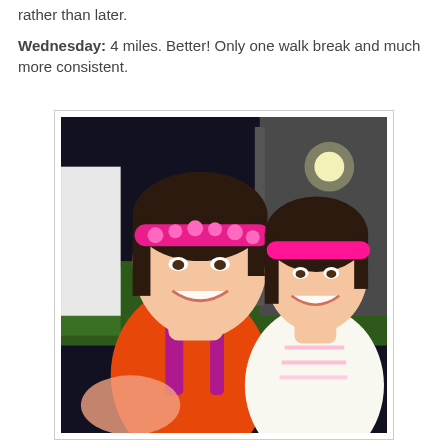rather than later.
Wednesday: 4 miles. Better! Only one walk break and much more consistent.
[Figure (photo): Two young women taking a selfie outdoors at night after a run. The woman on the left wears a pink polka-dot headband, orange tank top with purple/magenta strap. The woman on the right wears a bright pink headband and white/pink athletic tank top. Background shows green grass, a building wall, and outdoor lighting.]